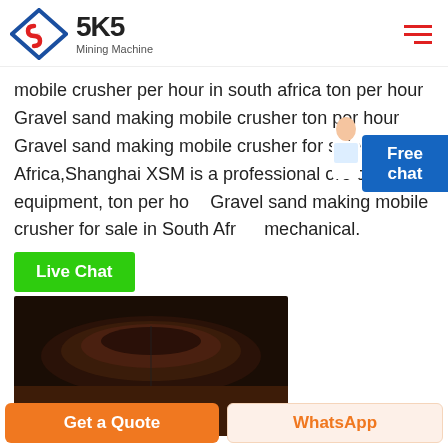[Figure (logo): SKS Mining Machine logo with diamond S icon and brand name]
mobile crusher per hour in south africa ton per hour Gravel sand making mobile crusher ton per hour Gravel sand making mobile crusher for sale in South Africa,Shanghai XSM is a professional ore crusher equipment, ton per hour Gravel sand making mobile crusher for sale in South Africa mechanical.
[Figure (other): Free chat widget with avatar and blue button]
[Figure (other): Live Chat green button and photo of crusher equipment]
[Figure (other): Bottom bar with Get a Quote orange button and WhatsApp button]